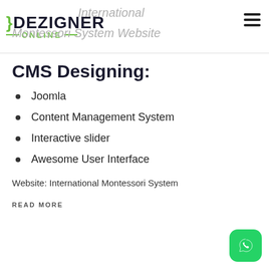Dezigner Online — International Montessori System Website
CMS Designing:
Joomla
Content Management System
Interactive slider
Awesome User Interface
Website: International Montessori System
READ MORE